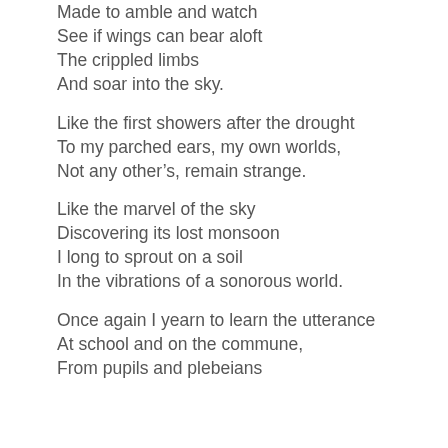Made to amble and watch
See if wings can bear aloft
The crippled limbs
And soar into the sky.
Like the first showers after the drought
To my parched ears, my own worlds,
Not any other’s, remain strange.
Like the marvel of the sky
Discovering its lost monsoon
I long to sprout on a soil
In the vibrations of a sonorous world.
Once again I yearn to learn the utterance
At school and on the commune,
From pupils and plebeians